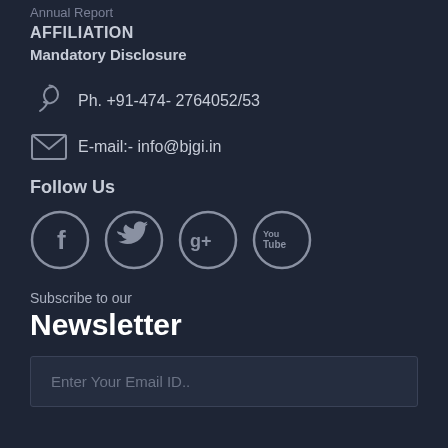Annual Report
AFFILIATION
Mandatory Disclosure
Ph. +91-474- 2764052/53
E-mail:- info@bjgi.in
Follow Us
[Figure (illustration): Social media icons: Facebook, Twitter, Google+, YouTube]
Subscribe to our
Newsletter
Enter Your Email ID..